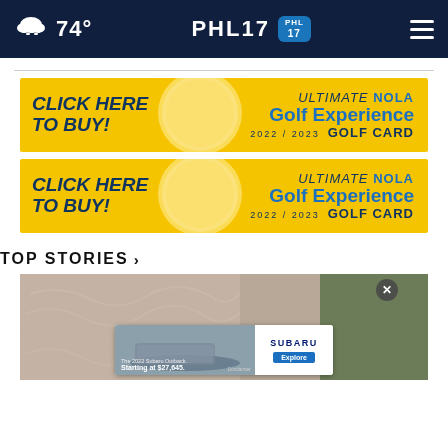74° PHL17 PHL17
[Figure (screenshot): Advertisement banner: CLICK HERE TO BUY! ULTIMATE NOLA Golf Experience 2022/2023 GOLF CARD — yellow background with golf ball image]
[Figure (screenshot): Advertisement banner (duplicate): CLICK HERE TO BUY! ULTIMATE NOLA Golf Experience 2022/2023 GOLF CARD — yellow background with golf ball image]
TOP STORIES ›
[Figure (photo): Close-up photo of an elderly person's face/hair, with a Subaru advertisement overlay at the bottom: The 2022 Subaru Outback. Starting at $27,645. Explore.]